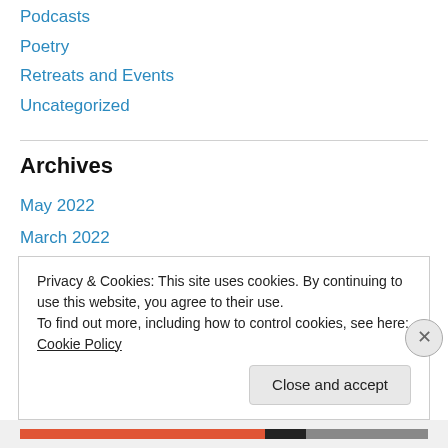Podcasts
Poetry
Retreats and Events
Uncategorized
Archives
May 2022
March 2022
February 2022
January 2022
November 2021
October 2021
Privacy & Cookies: This site uses cookies. By continuing to use this website, you agree to their use.
To find out more, including how to control cookies, see here: Cookie Policy
Close and accept